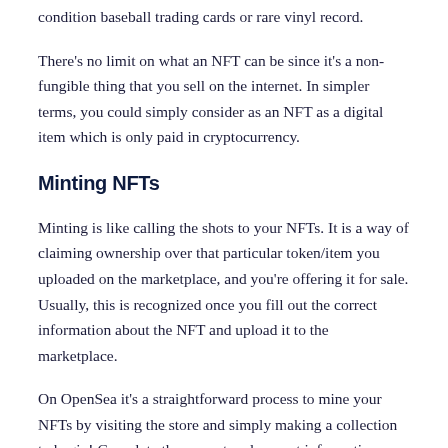condition baseball trading cards or rare vinyl record.
There's no limit on what an NFT can be since it's a non-fungible thing that you sell on the internet. In simpler terms, you could simply consider as an NFT as a digital item which is only paid in cryptocurrency.
Minting NFTs
Minting is like calling the shots to your NFTs. It is a way of claiming ownership over that particular token/item you uploaded on the marketplace, and you're offering it for sale. Usually, this is recognized once you fill out the correct information about the NFT and upload it to the marketplace.
On OpenSea it's a straightforward process to mine your NFTs by visiting the store and simply making a collection to begin! Complete the correct and correct information regarding your NFT and also what kind of setting you'd like to use it with